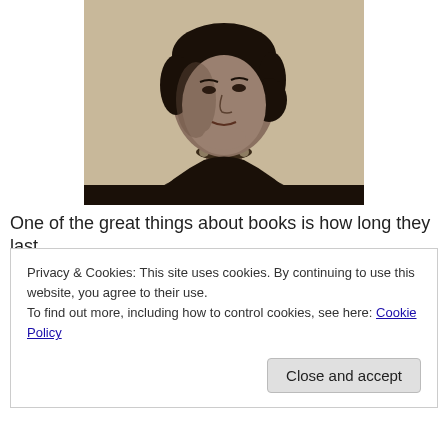[Figure (photo): Sepia-toned portrait photograph of a woman from the late 19th or early 20th century, shown from the shoulders up, wearing a dark dress with floral decoration at the neckline, dark hair styled up.]
One of the great things about books is how long they last.
Privacy & Cookies: This site uses cookies. By continuing to use this website, you agree to their use.
To find out more, including how to control cookies, see here: Cookie Policy
Close and accept